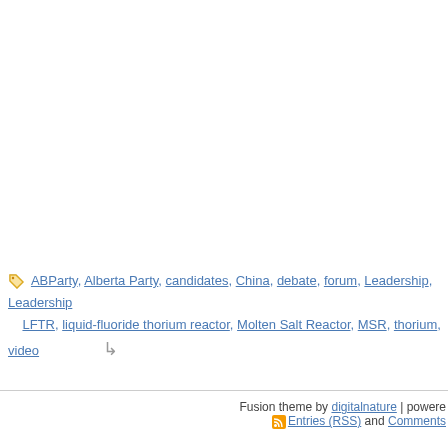ABParty, Alberta Party, candidates, China, debate, forum, Leadership, Leadership LFTR, liquid-fluoride thorium reactor, Molten Salt Reactor, MSR, thorium, video
Fusion theme by digitalnature | powered Entries (RSS) and Comments